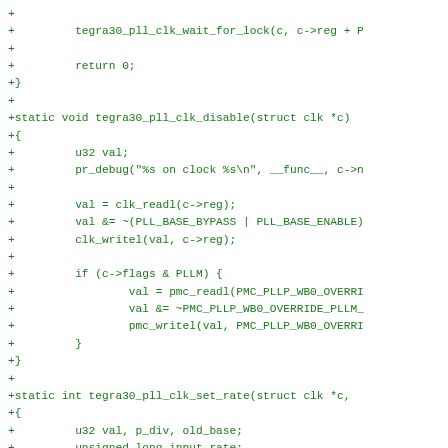code diff showing tegra30 PLL clock functions: tegra30_pll_clk_wait_for_lock, tegra30_pll_clk_disable, tegra30_pll_clk_set_rate